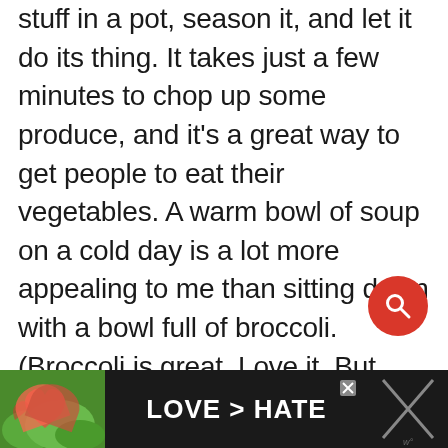stuff in a pot, season it, and let it do its thing. It takes just a few minutes to chop up some produce, and it's a great way to get people to eat their vegetables. A warm bowl of soup on a cold day is a lot more appealing to me than sitting down with a bowl full of broccoli. (Broccoli is great. Love it. But soup is better, just saying…)
[Figure (other): Red circular search button with magnifying glass icon]
[Figure (other): Advertisement banner at bottom: dark background with hands forming heart shape on green background on left, LOVE > HATE text in center, and close/X button]